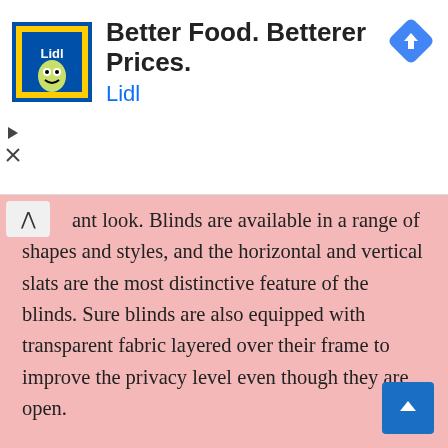[Figure (screenshot): Lidl advertisement banner with logo showing 'Better Food. Betterer Prices.' headline and Lidl brand name in blue, with a blue navigation/directions diamond icon on the right and playback/close controls on the left edge.]
ant look. Blinds are available in a range of shapes and styles, and the horizontal and vertical slats are the most distinctive feature of the blinds. Sure blinds are also equipped with transparent fabric layered over their frame to improve the privacy level even though they are open.

Blinds aren't as expensive. Blinds are among the most affordable window treatments in general. If you're looking to make a budget-conscious decision, blinds could be the best